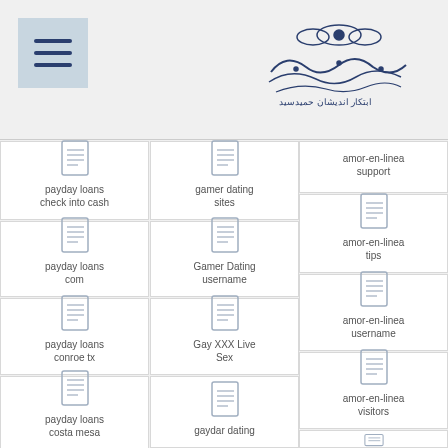Navigation menu header with hamburger icon and logo
| Column 1 | Column 2 | Column 3 |
| --- | --- | --- |
| payday loans check into cash | gamer dating sites | amor-en-linea support |
| payday loans com | Gamer Dating username | amor-en-linea tips |
| payday loans conroe tx | Gay XXX Live Sex | amor-en-linea username |
| payday loans costa mesa | gaydar dating | amor-en-linea visitors |